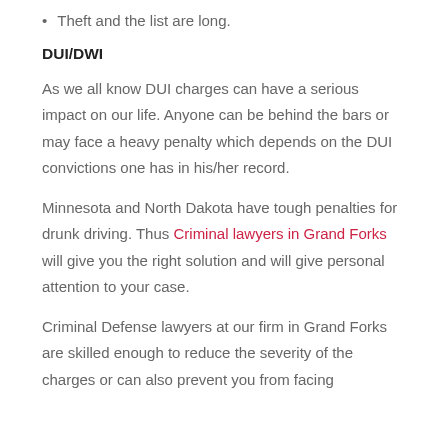Theft and the list are long.
DUI/DWI
As we all know DUI charges can have a serious impact on our life. Anyone can be behind the bars or may face a heavy penalty which depends on the DUI convictions one has in his/her record.
Minnesota and North Dakota have tough penalties for drunk driving. Thus Criminal lawyers in Grand Forks will give you the right solution and will give personal attention to your case.
Criminal Defense lawyers at our firm in Grand Forks are skilled enough to reduce the severity of the charges or can also prevent you from facing